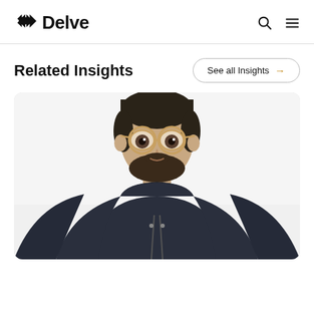Delve
Related Insights
See all Insights →
[Figure (photo): A man with a beard wearing round gold-framed glasses and a dark navy hoodie, looking directly at the camera against a white background.]